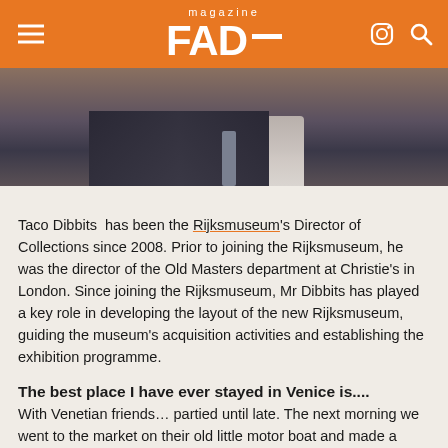FAD magazine
[Figure (photo): Close-up photo of a man in a dark suit and tie, head slightly bowed]
Taco Dibbits has been the Rijksmuseum's Director of Collections since 2008. Prior to joining the Rijksmuseum, he was the director of the Old Masters department at Christie's in London. Since joining the Rijksmuseum, Mr Dibbits has played a key role in developing the layout of the new Rijksmuseum, guiding the museum's acquisition activities and establishing the exhibition programme.
The best place I have ever stayed in Venice is....
With Venetian friends… partied until late. The next morning we went to the market on their old little motor boat and made a lavish lunch which lasted until dinner.